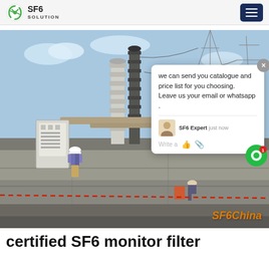SF6 SOLUTION
[Figure (photo): Outdoor electrical substation with SF6 high-voltage equipment, workers in hard hats, power lines and pylons in background. Chat popup overlay visible. 'SF6China' watermark in bottom right.]
certified SF6 monitor filter